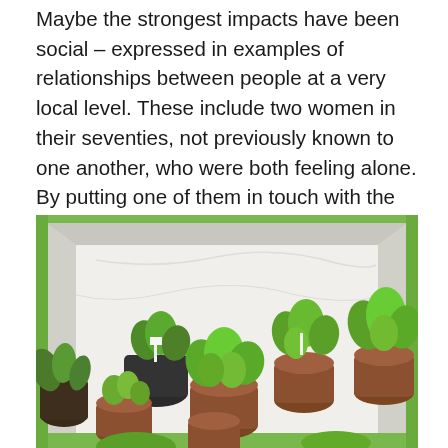Maybe the strongest impacts have been social – expressed in examples of relationships between people at a very local level. These include two women in their seventies, not previously known to one another, who were both feeling alone. By putting one of them in touch with the other they can now chat on the telephone every day and develop a new friendship. Meanwhile, instead of going to the local pub or club, many of us have discovered Zoom, Facetime or Skype for the first time! We now relate online!
[Figure (photo): A cardboard box lined with white paper containing multiple potted plants with green leafy herbs and seedlings, photographed from above in an outdoor garden setting.]